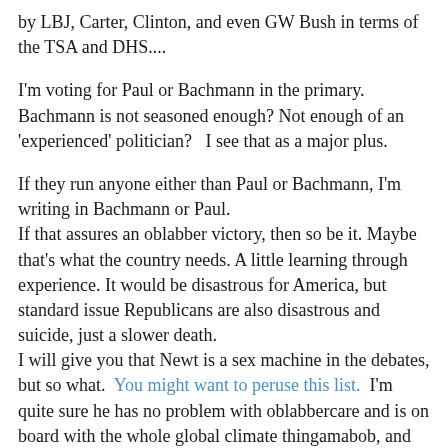by LBJ, Carter, Clinton, and even GW Bush in terms of the TSA and DHS....
I'm voting for Paul or Bachmann in the primary. Bachmann is not seasoned enough? Not enough of an 'experienced' politician?   I see that as a major plus.
If they run anyone either than Paul or Bachmann, I'm writing in Bachmann or Paul.
If that assures an oblabber victory, then so be it. Maybe that's what the country needs. A little learning through experience. It would be disastrous for America, but standard issue Republicans are also disastrous and suicide, just a slower death.
I will give you that Newt is a sex machine in the debates, but so what.  You might want to peruse this list.  I'm quite sure he has no problem with oblabbercare and is on board with the whole global climate thingamabob, and has profited all over the politic-sphere as well. I have no use